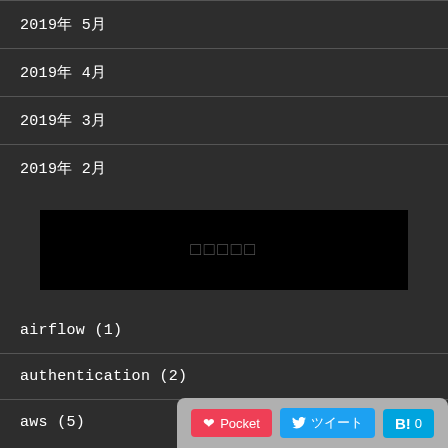2019年 5月
2019年 4月
2019年 3月
2019年 2月
[Figure (other): Black banner with placeholder text/characters in center]
airflow (1)
authentication (2)
aws (5)
Pocket | ツイート | B! 0